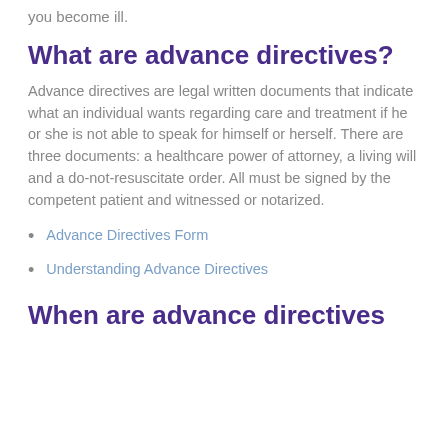you become ill.
What are advance directives?
Advance directives are legal written documents that indicate what an individual wants regarding care and treatment if he or she is not able to speak for himself or herself. There are three documents: a healthcare power of attorney, a living will and a do-not-resuscitate order. All must be signed by the competent patient and witnessed or notarized.
Advance Directives Form
Understanding Advance Directives
When are advance directives